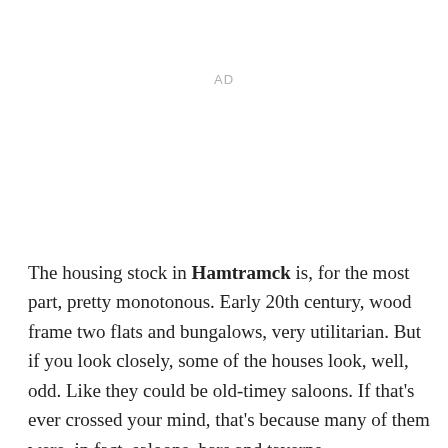AD
The housing stock in Hamtramck is, for the most part, pretty monotonous. Early 20th century, wood frame two flats and bungalows, very utilitarian. But if you look closely, some of the houses look, well, odd. Like they could be old-timey saloons. If that's ever crossed your mind, that's because many of them were, in fact, saloons, bars and taverns.